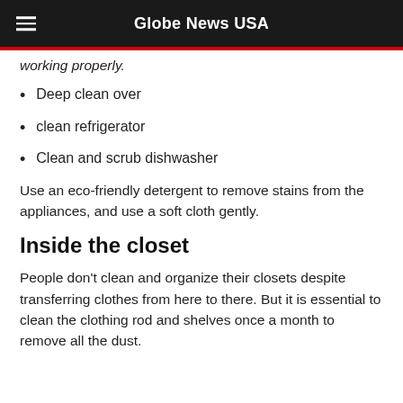Globe News USA
working properly.
Deep clean over
clean refrigerator
Clean and scrub dishwasher
Use an eco-friendly detergent to remove stains from the appliances, and use a soft cloth gently.
Inside the closet
People don't clean and organize their closets despite transferring clothes from here to there. But it is essential to clean the clothing rod and shelves once a month to remove all the dust.